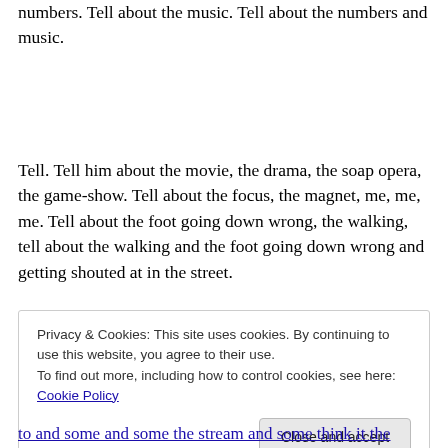numbers. Tell about the music. Tell about the numbers and music.
Tell. Tell him about the movie, the drama, the soap opera, the game-show. Tell about the focus, the magnet, me, me, me. Tell about the foot going down wrong, the walking, tell about the walking and the foot going down wrong and getting shouted at in the street.
Privacy & Cookies: This site uses cookies. By continuing to use this website, you agree to their use.
To find out more, including how to control cookies, see here: Cookie Policy
Close and accept
to and some and some the stream and some think it the some